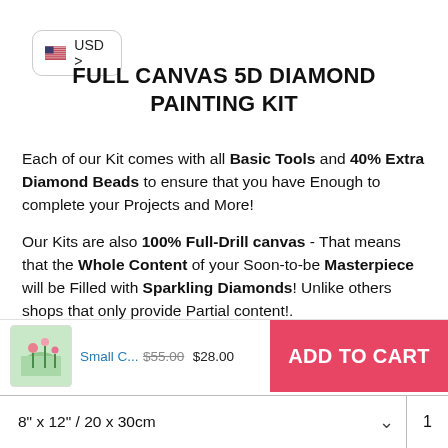[Figure (infographic): USD currency selector button with US flag icon and chevron]
FULL CANVAS 5D DIAMOND PAINTING KIT
Each of our Kit comes with all Basic Tools and 40% Extra Diamond Beads to ensure that you have Enough to complete your Projects and More!
Our Kits are also 100% Full-Drill canvas - That means that the Whole Content of your Soon-to-be Masterpiece will be Filled with Sparkling Diamonds! Unlike others shops that only provide Partial content!.
[Figure (infographic): Shopping cart bar with product thumbnail, name 'Small C...', price $55.00 struck through and $28.00, and red ADD TO CART button]
Get Started!
8" x 12" / 20 x 30cm